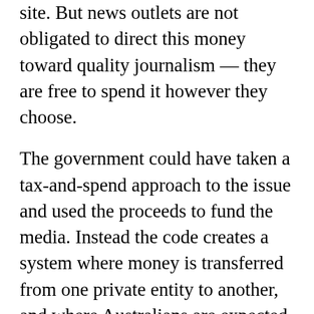site. But news outlets are not obligated to direct this money toward quality journalism — they are free to spend it however they choose.
The government could have taken a tax-and-spend approach to the issue and used the proceeds to fund the media. Instead the code creates a system where money is transferred from one private entity to another, and where Australians are expected to trust that someone like Rupert Murdoch will spend his newly gotten gains on quality public interest journalism.
In fact the code may not improve the quality of journalism at all. In addition to establishing payments from...